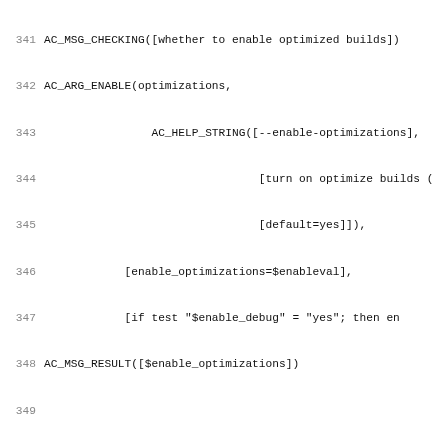341 AC_MSG_CHECKING([whether to enable optimized builds])
342 AC_ARG_ENABLE(optimizations,
343                 AC_HELP_STRING([--enable-optimizations],
344                                 [turn on optimize builds (
345                                 [default=yes]]),
346             [enable_optimizations=$enableval],
347             [if test "$enable_debug" = "yes"; then en
348 AC_MSG_RESULT([$enable_optimizations])
349 
350 # check whether to enable 3D transforms support
351 AC_MSG_CHECKING([whether to enable support for 3D Trans
352 AC_ARG_ENABLE(3d_transforms,
353                 AC_HELP_STRING([--enable-3d-transforms],
354                                 [enable support for 3D tra
355             [].[enable_3d_transforms="no"])
356 AC_MSG_RESULT([$enable_3d_transforms])
357 
358 # check whether to enable WebGL support
359 AC_MSG_CHECKING([whether to enable WebGL support])
360 AC_ARG_ENABLE(webgl,
361                 AC_HELP_STRING([--enable-webgl],
362                                 [enable support for (WebGL
363             [], [enable_webgl="no"])
364 AC_MSG_RESULT([$enable_webgl])
365 
366 # check whether to enable channel messaging support
367 AC_MSG_CHECKING([whether to enable HTML5 Channel Messag
368 AC_ARG_ENABLE(channel_messaging,
369                 AC_HELP_STRING([--enable-channel-messagin
370                                 [enable HTML5 channel mess
371             [].[enable_channel_messaging="yes"])
372 AC_MSG_RESULT([$enable_channel_messaging])